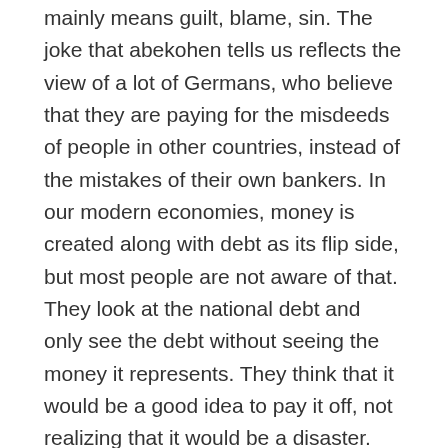mainly means guilt, blame, sin. The joke that abekohen tells us reflects the view of a lot of Germans, who believe that they are paying for the misdeeds of people in other countries, instead of the mistakes of their own bankers. In our modern economies, money is created along with debt as its flip side, but most people are not aware of that. They look at the national debt and only see the debt without seeing the money it represents. They think that it would be a good idea to pay it off, not realizing that it would be a disaster.
★ Like
Jerome on July 23, 2015 at 11:31 am